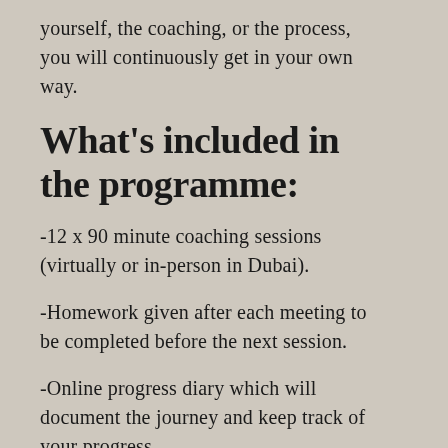yourself, the coaching, or the process, you will continuously get in your own way.
What's included in the programme:
-12 x 90 minute coaching sessions (virtually or in-person in Dubai).
-Homework given after each meeting to be completed before the next session.
-Online progress diary which will document the journey and keep track of your progress.